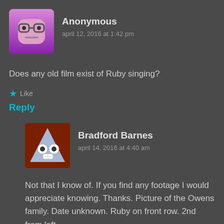[Figure (illustration): Anonymous user avatar: pink/purple square face with glasses and neutral expression]
Anonymous
april 12, 2016 at 1:42 pm
Does any old film exist of Ruby singing?
★ Like
Reply
[Figure (illustration): Bradford Barnes avatar: brown background with cartoon triangle/mountain character with eyes and bandage]
Bradford Barnes
april 14, 2016 at 4:40 am
Not that I know of. If you find any footage I would appreciate knowing. Thanks. Picture of the Owens family. Date unknown. Ruby on front row. 2nd from left.